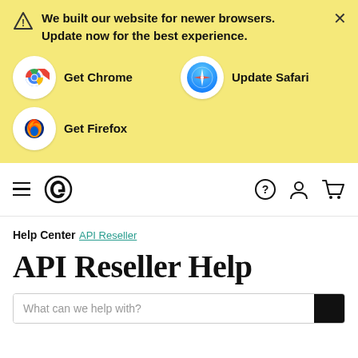We built our website for newer browsers. Update now for the best experience.
[Figure (illustration): Browser options: Get Chrome (Chrome icon), Update Safari (Safari icon), Get Firefox (Firefox icon)]
[Figure (logo): Navigation bar with hamburger menu, Grammarly logo, help icon, account icon, cart icon]
Help Center
API Reseller
API Reseller Help
What can we help with?